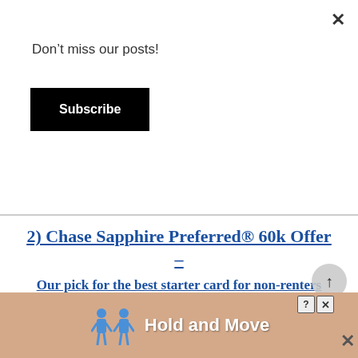Don't miss our posts!
Subscribe
2) Chase Sapphire Preferred® 60k Offer –
Our pick for the best starter card for non-renters
If you're just getting started, I think the Chase Sapphire Preferred is a great launch pad. It earns points that can be transferred into over a dozen partners many of which are US based. This makes it a great starter program to get
[Figure (infographic): Bottom advertisement banner with 'Hold and Move' text, two blue cartoon figures, and close/help buttons]